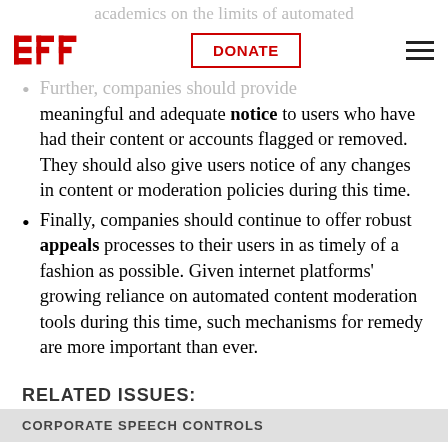academics on the limits of automated content moderation — DONATE
Further, companies should provide meaningful and adequate notice to users who have had their content or accounts flagged or removed. They should also give users notice of any changes in content or moderation policies during this time.
Finally, companies should continue to offer robust appeals processes to their users in as timely of a fashion as possible. Given internet platforms' growing reliance on automated content moderation tools during this time, such mechanisms for remedy are more important than ever.
RELATED ISSUES:
CORPORATE SPEECH CONTROLS